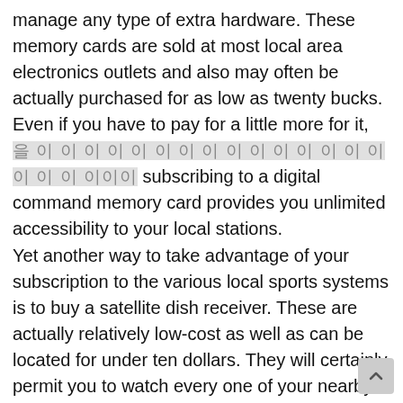manage any type of extra hardware. These memory cards are sold at most local area electronics outlets and also may often be actually purchased for as low as twenty bucks. Even if you have to pay for a little more for it, [Korean text] subscribing to a digital command memory card provides you unlimited accessibility to your local stations.
Yet another way to take advantage of your subscription to the various local sports systems is to buy a satellite dish receiver. These are actually relatively low-cost as well as can be located for under ten dollars. They will certainly permit you to watch every one of your nearby stations via a television inside your property, or even through a special unit that hooks up to your television. These units operate well, as well as lots of people find that they improve their browsing experience